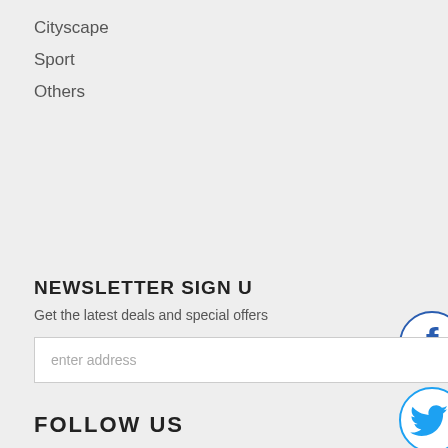Cityscape
Sport
Others
[Figure (infographic): Social media icon buttons arranged vertically on the right side: Facebook (blue circle with f), Twitter (blue circle with bird), Pinterest (red circle with P), Google+ (red circle with G+), Email (red circle with envelope)]
NEWSLETTER SIGN U
Get the latest deals and special offers
enter address
SUBMIT
FOLLOW US